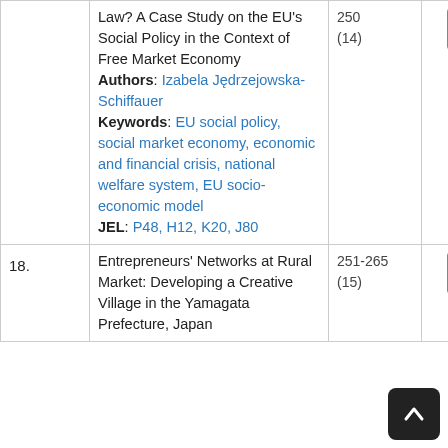| # | Title / Authors / Keywords / JEL | Pages |  |
| --- | --- | --- | --- |
|  | Law? A Case Study on the EU's Social Policy in the Context of Free Market Economy
Authors: Izabela Jędrzejowska-Schiffauer
Keywords: EU social policy, social market economy, economic and financial crisis, national welfare system, EU socio-economic model
JEL: P48, H12, K20, J80 | 250
(14) | ► |
| 18. | Entrepreneurs' Networks at Rural Market: Developing a Creative Village in the Yamagata Prefecture, Japan | 251-265
(15) | ► |